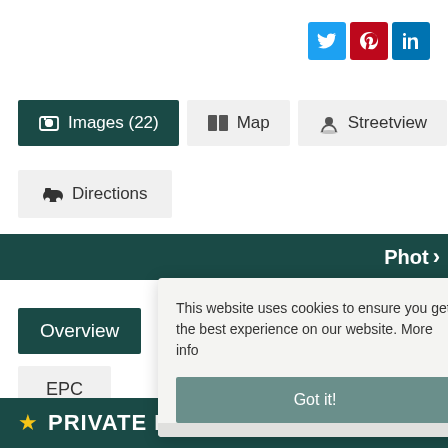[Figure (screenshot): Social media share buttons: Twitter (blue), Pinterest (red), LinkedIn (blue)]
[Figure (screenshot): Navigation tabs: Images (22) active in dark teal, Map and Streetview inactive]
[Figure (screenshot): Directions tab button]
[Figure (screenshot): Photos navigation bar in dark teal with right arrow]
[Figure (screenshot): Property page navigation: Overview (active), Rooms, Gallery, Floorplan tabs]
[Figure (screenshot): EPC button]
[Figure (screenshot): Cookie consent overlay: 'This website uses cookies to ensure you get the best experience on our website. More info' with 'Got it!' button]
[Figure (screenshot): Bottom bar with star icon and PRIVATE ROAD text]